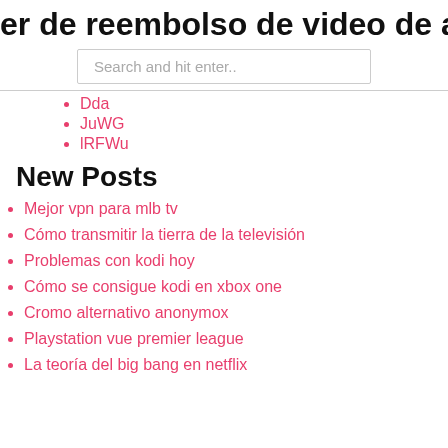er de reembolso de video de amazon
Search and hit enter..
Dda
JuWG
lRFWu
New Posts
Mejor vpn para mlb tv
Cómo transmitir la tierra de la televisión
Problemas con kodi hoy
Cómo se consigue kodi en xbox one
Cromo alternativo anonymox
Playstation vue premier league
La teoría del big bang en netflix